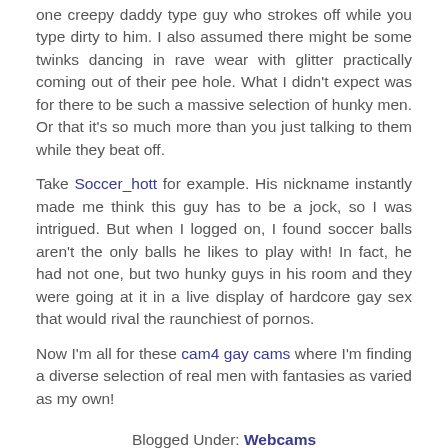one creepy daddy type guy who strokes off while you type dirty to him. I also assumed there might be some twinks dancing in rave wear with glitter practically coming out of their pee hole. What I didn't expect was for there to be such a massive selection of hunky men. Or that it's so much more than you just talking to them while they beat off.
Take Soccer_hott for example. His nickname instantly made me think this guy has to be a jock, so I was intrigued. But when I logged on, I found soccer balls aren't the only balls he likes to play with! In fact, he had not one, but two hunky guys in his room and they were going at it in a live display of hardcore gay sex that would rival the raunchiest of pornos.
Now I'm all for these cam4 gay cams where I'm finding a diverse selection of real men with fantasies as varied as my own!
Blogged Under: Webcams
0 Comments | Write Comment